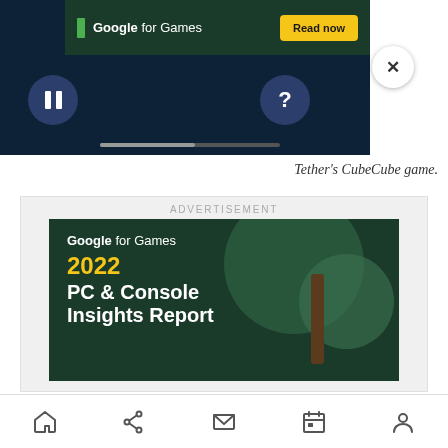[Figure (screenshot): Screenshot of a mobile web page showing a Google for Games ad banner at the top with 'Read now' button, a dark game screen with pause and help buttons, a close (X) button, and a progress bar at the bottom of the game area.]
Tether’s CubeCube game.
[Figure (screenshot): Advertisement banner showing 'Google for Games 2022 PC & Console Insights Report' with dark green background and decorative tree illustration. Text 'ADVERTISEMENT' appears above the banner.]
[Figure (screenshot): Mobile browser navigation bar with home, share, mail, calendar, and profile icons.]